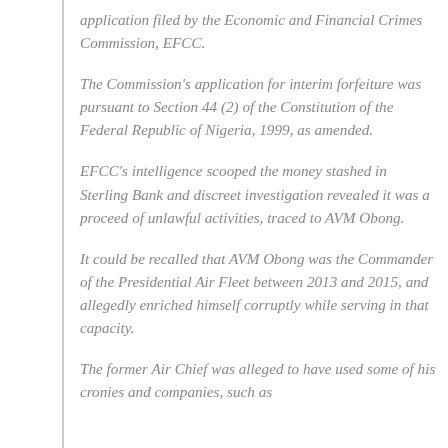application filed by the Economic and Financial Crimes Commission, EFCC.
The Commission's application for interim forfeiture was pursuant to Section 44 (2) of the Constitution of the Federal Republic of Nigeria, 1999, as amended.
EFCC's intelligence scooped the money stashed in Sterling Bank and discreet investigation revealed it was a proceed of unlawful activities, traced to AVM Obong.
It could be recalled that AVM Obong was the Commander of the Presidential Air Fleet between 2013 and 2015, and allegedly enriched himself corruptly while serving in that capacity.
The former Air Chief was alleged to have used some of his cronies and companies, such as